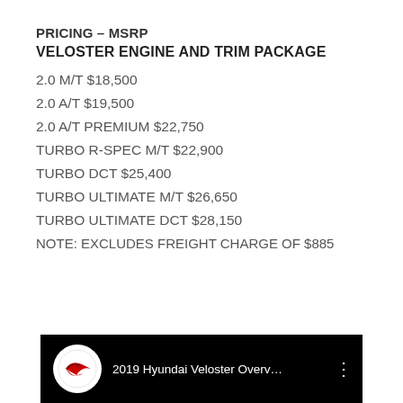PRICING – MSRP
VELOSTER ENGINE AND TRIM PACKAGE
2.0 M/T $18,500
2.0 A/T $19,500
2.0 A/T PREMIUM $22,750
TURBO R-SPEC M/T $22,900
TURBO DCT $25,400
TURBO ULTIMATE M/T $26,650
TURBO ULTIMATE DCT $28,150
NOTE: EXCLUDES FREIGHT CHARGE OF $885
[Figure (screenshot): Video thumbnail for '2019 Hyundai Veloster Overv...' with a red and white logo on black background and a three-dot menu icon]